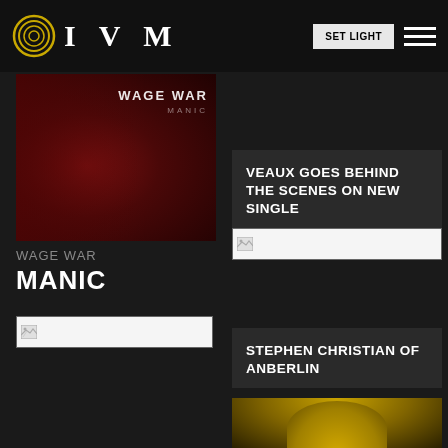IVM
[Figure (photo): Wage War - Manic album cover with red-tinted portrait of a woman and text 'WAGE WAR MANIC']
WAGE WAR
MANIC
[Figure (photo): Broken image placeholder (left column)]
VEAUX GOES BEHIND THE SCENES ON NEW SINGLE
[Figure (photo): Broken image placeholder (right column)]
STEPHEN CHRISTIAN OF ANBERLIN
[Figure (photo): Vinyl record image in yellow/gold tones]